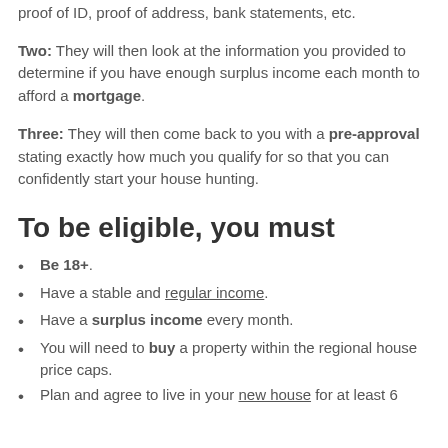proof of ID, proof of address, bank statements, etc.
Two: They will then look at the information you provided to determine if you have enough surplus income each month to afford a mortgage.
Three: They will then come back to you with a pre-approval stating exactly how much you qualify for so that you can confidently start your house hunting.
To be eligible, you must
Be 18+.
Have a stable and regular income.
Have a surplus income every month.
You will need to buy a property within the regional house price caps.
Plan and agree to live in your new house for at least 6